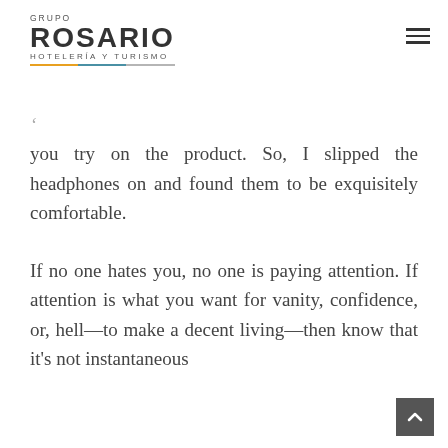GRUPO ROSARIO HOTELERIA Y TURISMO
you try on the product. So, I slipped the headphones on and found them to be exquisitely comfortable.
If no one hates you, no one is paying attention. If attention is what you want for vanity, confidence, or, hell—to make a decent living—then know that it's not instantaneous